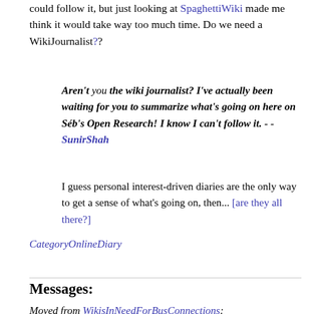could follow it, but just looking at SpaghettiWiki made me think it would take way too much time. Do we need a WikiJournalist??
Aren't you the wiki journalist? I've actually been waiting for you to summarize what's going on here on Séb's Open Research! I know I can't follow it. - - SunirShah
I guess personal interest-driven diaries are the only way to get a sense of what's going on, then... [are they all there?]
CategoryOnlineDiary
Messages:
Moved from WikisInNeedForBusConnections: